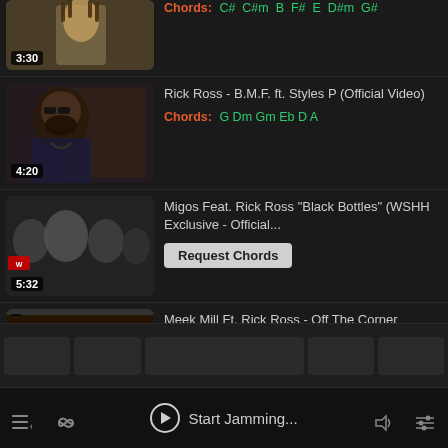[Figure (screenshot): Partially visible first video thumbnail with 3:30 time badge, showing a person with dreadlocks]
Chords: C# C#m B F# E D#m G#
[Figure (screenshot): Video thumbnail of Rick Ross (4:20)]
Rick Ross - B.M.F. ft. Styles P (Official Video)
Chords: G Dm Gm Eb D A
[Figure (screenshot): Video thumbnail of Migos feat Rick Ross Black Bottles (5:32)]
Migos Feat. Rick Ross "Black Bottles" (WSHH Exclusive - Official...
Request Chords
[Figure (screenshot): Video thumbnail of Meek Mill ft. Rick Ross Off The Corner]
Meek Mill Ft. Rick Ross - Off The Corner (Official Video)
Start Jamming...